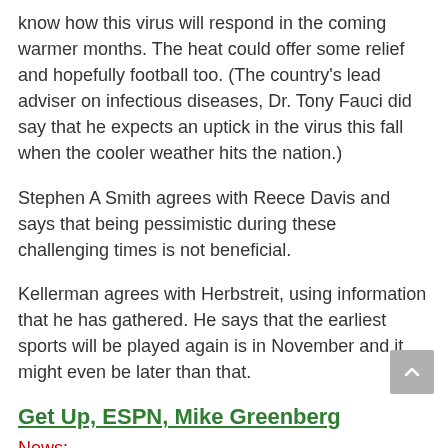know how this virus will respond in the coming warmer months. The heat could offer some relief and hopefully football too. (The country's lead adviser on infectious diseases, Dr. Tony Fauci did say that he expects an uptick in the virus this fall when the cooler weather hits the nation.)
Stephen A Smith agrees with Reece Davis and says that being pessimistic during these challenging times is not beneficial.
Kellerman agrees with Herbstreit, using information that he has gathered. He says that the earliest sports will be played again is in November and it might even be later than that.
Get Up, ESPN, Mike Greenberg
News: